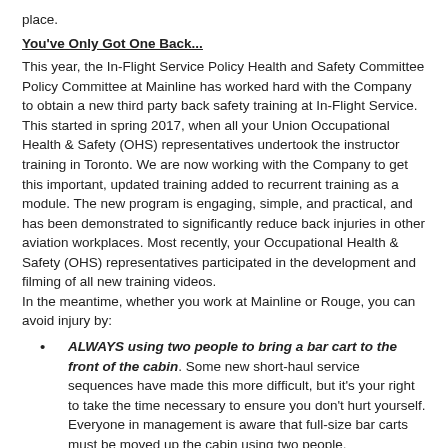place.
You've Only Got One Back...
This year, the In-Flight Service Policy Health and Safety Committee Policy Committee at Mainline has worked hard with the Company to obtain a new third party back safety training at In-Flight Service. This started in spring 2017, when all your Union Occupational Health & Safety (OHS) representatives undertook the instructor training in Toronto. We are now working with the Company to get this important, updated training added to recurrent training as a module. The new program is engaging, simple, and practical, and has been demonstrated to significantly reduce back injuries in other aviation workplaces. Most recently, your Occupational Health & Safety (OHS) representatives participated in the development and filming of all new training videos. In the meantime, whether you work at Mainline or Rouge, you can avoid injury by:
ALWAYS using two people to bring a bar cart to the front of the cabin. Some new short-haul service sequences have made this more difficult, but it's your right to take the time necessary to ensure you don't hurt yourself. Everyone in management is aware that full-size bar carts must be moved up the cabin using two people.
Not using broken equipment. If a drawer is jammed, a canister/trolley cannot be pulled out, don't injure yourself. The official procedure is to properly identify the broken equipment using reporting tools in chapter 2 of your manual, log any non-removable equipment issues, and modify the service accordingly. Ensure to file a report documenting the need to